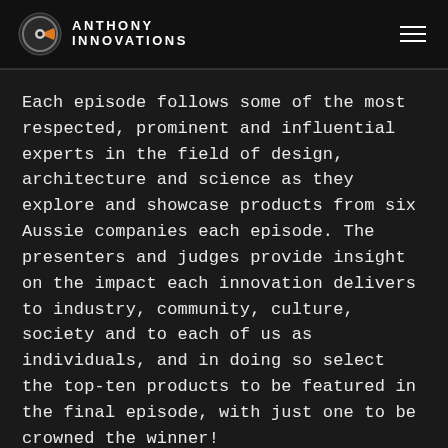ANTHONY INNOVATIONS
Each episode follows some of the most respected, prominent and influential experts in the field of design, architecture and science as they explore and showcase products from six Aussie companies each episode. The presenters and judges provide insight on the impact each innovation delivers to industry, community, culture, society and to each of us as individuals, and in doing so select the top-ten products to be featured in the final episode, with just one to be crowned the winner!
In this article